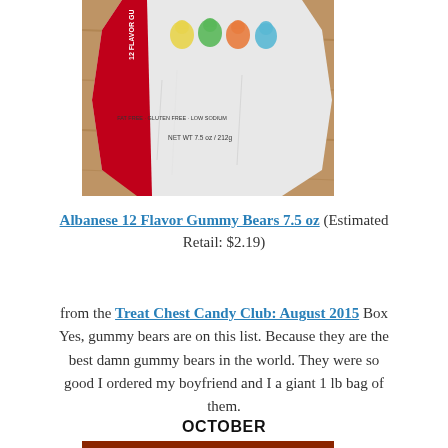[Figure (photo): Photo of Albanese 12 Flavor Gummy Bears 7.5 oz bag on a wooden surface, showing colorful gummy bears on the white package with red trim. Package reads '12 FLAVOR GU...', 'FAT FREE · GLUTEN FREE · LOW SODIUM', 'NET WT 7.5 oz / 212g']
Albanese 12 Flavor Gummy Bears 7.5 oz (Estimated Retail: $2.19)
from the Treat Chest Candy Club: August 2015 Box Yes, gummy bears are on this list. Because they are the best damn gummy bears in the world. They were so good I ordered my boyfriend and I a giant 1 lb bag of them.
OCTOBER